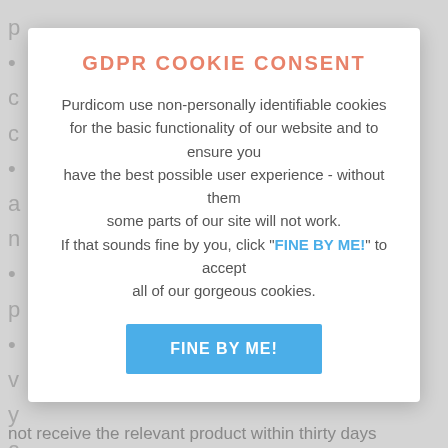GDPR COOKIE CONSENT
Purdicom use non-personally identifiable cookies for the basic functionality of our website and to ensure you have the best possible user experience - without them some parts of our site will not work. If that sounds fine by you, click "FINE BY ME!" to accept all of our gorgeous cookies.
FINE BY ME!
not receive the relevant product within thirty days